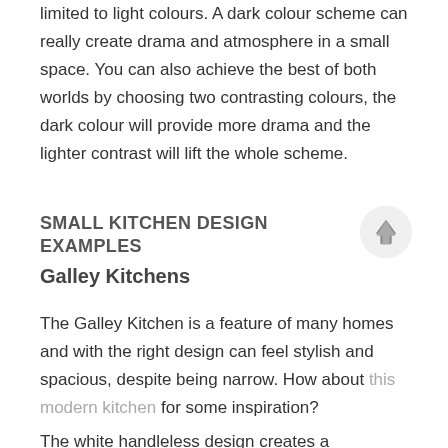limited to light colours. A dark colour scheme can really create drama and atmosphere in a small space. You can also achieve the best of both worlds by choosing two contrasting colours, the dark colour will provide more drama and the lighter contrast will lift the whole scheme.
SMALL KITCHEN DESIGN EXAMPLES
Galley Kitchens
The Galley Kitchen is a feature of many homes and with the right design can feel stylish and spacious, despite being narrow. How about this modern kitchen for some inspiration?
The white handleless design creates a